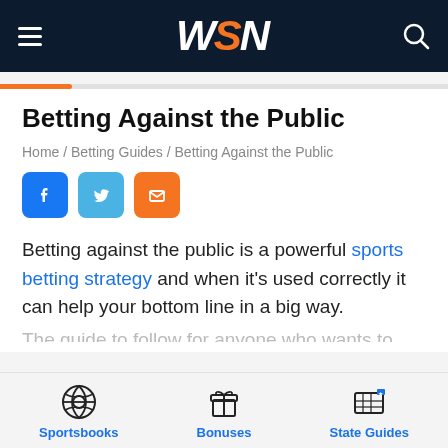WSN
Betting Against the Public
Home / Betting Guides / Betting Against the Public
[Figure (infographic): Social share buttons: Facebook (blue), Twitter (light blue), Email (orange)]
Betting against the public is a powerful sports betting strategy and when it's used correctly it can help your bottom line in a big way.
Sportsbooks | Bonuses | State Guides